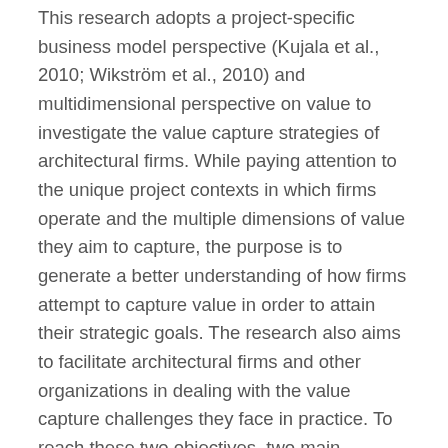This research adopts a project-specific business model perspective (Kujala et al., 2010; Wikström et al., 2010) and multidimensional perspective on value to investigate the value capture strategies of architectural firms. While paying attention to the unique project contexts in which firms operate and the multiple dimensions of value they aim to capture, the purpose is to generate a better understanding of how firms attempt to capture value in order to attain their strategic goals. The research also aims to facilitate architectural firms and other organizations in dealing with the value capture challenges they face in practice. To reach these two objectives, two main research questions are addressed:
How do architectural firms capture value in construction projects?
How can architectural firms be supported in developing strategies for value capture?
Drawing on 40 case-based interviews with architects and